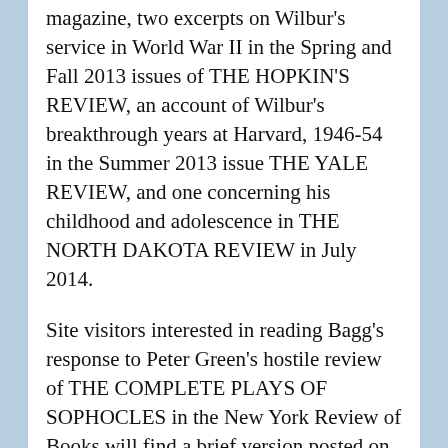magazine, two excerpts on Wilbur's service in World War II in the Spring and Fall 2013 issues of THE HOPKIN'S REVIEW, an account of Wilbur's breakthrough years at Harvard, 1946-54 in the Summer 2013 issue THE YALE REVIEW, and one concerning his childhood and adolescence in THE NORTH DAKOTA REVIEW in July 2014.
Site visitors interested in reading Bagg's response to Peter Green's hostile review of THE COMPLETE PLAYS OF SOPHOCLES in the New York Review of Books will find a brief version posted on Bob's Blague page. A much more detailed rejoinder may be found at www.thecompletesophocles.com.
Sophocles' THE OEDIPUS CYCLE